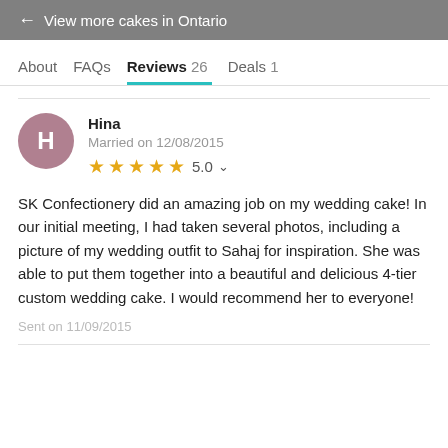← View more cakes in Ontario
About   FAQs   Reviews 26   Deals 1
Hina
Married on 12/08/2015
★★★★★ 5.0
SK Confectionery did an amazing job on my wedding cake! In our initial meeting, I had taken several photos, including a picture of my wedding outfit to Sahaj for inspiration. She was able to put them together into a beautiful and delicious 4-tier custom wedding cake. I would recommend her to everyone!
Sent on 11/09/2015